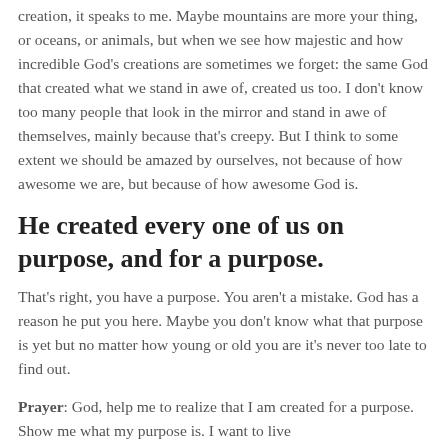creation, it speaks to me. Maybe mountains are more your thing, or oceans, or animals, but when we see how majestic and how incredible God's creations are sometimes we forget: the same God that created what we stand in awe of, created us too. I don't know too many people that look in the mirror and stand in awe of themselves, mainly because that's creepy. But I think to some extent we should be amazed by ourselves, not because of how awesome we are, but because of how awesome God is.
He created every one of us on purpose, and for a purpose.
That's right, you have a purpose. You aren't a mistake. God has a reason he put you here. Maybe you don't know what that purpose is yet but no matter how young or old you are it's never too late to find out.
Prayer: God, help me to realize that I am created for a purpose. Show me what my purpose is. I want to live